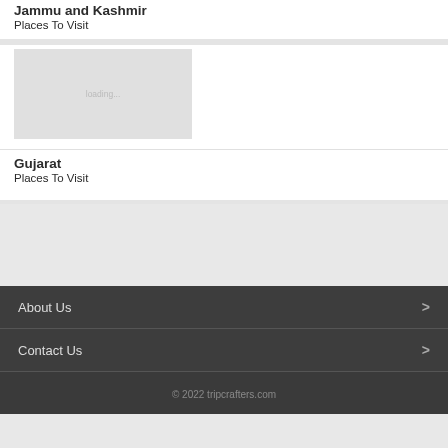Jammu and Kashmir
Places To Visit
[Figure (photo): Loading placeholder image for Jammu and Kashmir]
Gujarat
Places To Visit
About Us >
Contact Us >
© 2022 tripcrafters.com